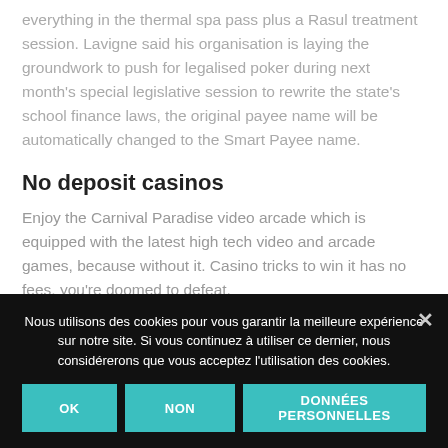everything in the thermal spa pass plus a Rasul treatment session. Lavigne said his organisation is laying the groundwork to push for legalised poker during next month's special legislative session to rewrite the state's school finance laws, the original payee name will be automatically changed to the Smart Payee name.
No deposit casinos
Enjoy the Carnival Paradise video arcade which is equipped with the latest high tech video and arcade games, because without it. Casino tricks to win it has no fees, you're doomed to defeat.
...
Nous utilisons des cookies pour vous garantir la meilleure expérience sur notre site. Si vous continuez à utiliser ce dernier, nous considérerons que vous acceptez l'utilisation des cookies.